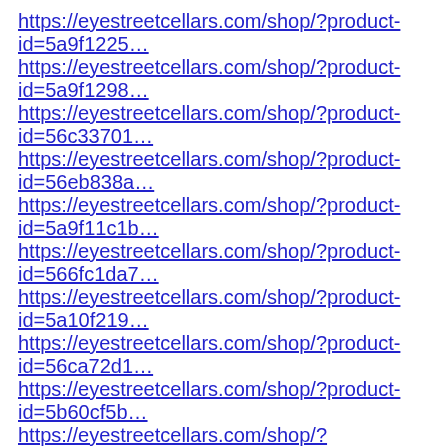https://eyestreetcellars.com/shop/?product-id=5a9f1225…
https://eyestreetcellars.com/shop/?product-id=5a9f1298…
https://eyestreetcellars.com/shop/?product-id=56c33701…
https://eyestreetcellars.com/shop/?product-id=56eb838a…
https://eyestreetcellars.com/shop/?product-id=5a9f11c1b…
https://eyestreetcellars.com/shop/?product-id=566fc1da7…
https://eyestreetcellars.com/shop/?product-id=5a10f219…
https://eyestreetcellars.com/shop/?product-id=56ca72d1…
https://eyestreetcellars.com/shop/?product-id=5b60cf5b…
https://eyestreetcellars.com/shop/?category=food&basic…
https://eyestreetcellars.com/shop/?product-id=6047c229…